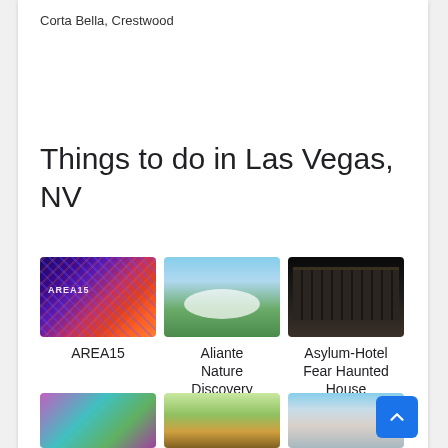Corta Bella, Crestwood
Things to do in Las Vegas, NV
[Figure (photo): AREA15 illuminated colorful neon art installation]
AREA15
[Figure (photo): Aliante Nature Discovery Park with waterfall and trees]
Aliante Nature Discovery Park
[Figure (photo): Asylum-Hotel Fear Haunted House dark building exterior]
Asylum-Hotel Fear Haunted House
[Figure (photo): Neon colorful art installation bottom row first]
[Figure (photo): Garden or botanical scene bottom row second]
[Figure (photo): Hotel exterior with water bottom row third]